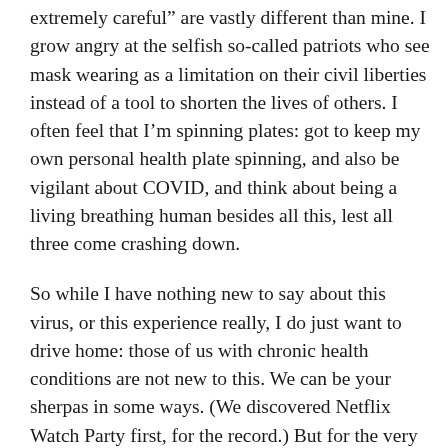extremely careful” are vastly different than mine. I grow angry at the selfish so-called patriots who see mask wearing as a limitation on their civil liberties instead of a tool to shorten the lives of others. I often feel that I’m spinning plates: got to keep my own personal health plate spinning, and also be vigilant about COVID, and think about being a living breathing human besides all this, lest all three come crashing down.
So while I have nothing new to say about this virus, or this experience really, I do just want to drive home: those of us with chronic health conditions are not new to this. We can be your sherpas in some ways. (We discovered Netflix Watch Party first, for the record.) But for the very same reason of personal experience, COVID is hitting us in profound ways.